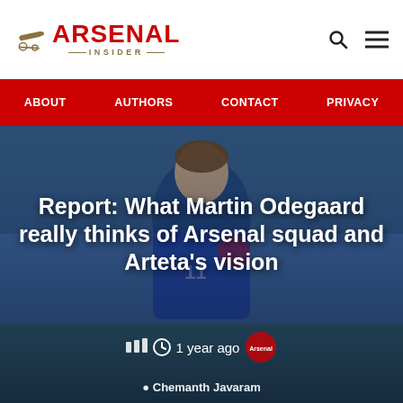[Figure (logo): Arsenal Insider logo with cannon graphic, red ARSENAL text and gold INSIDER text with dashes]
ABOUT  AUTHORS  CONTACT  PRIVACY
[Figure (photo): Photo of Martin Odegaard in blue Arsenal training kit with number 11, overlaid with article title text]
Report: What Martin Odegaard really thinks of Arsenal squad and Arteta's vision
1 year ago
Chemanth Javaram